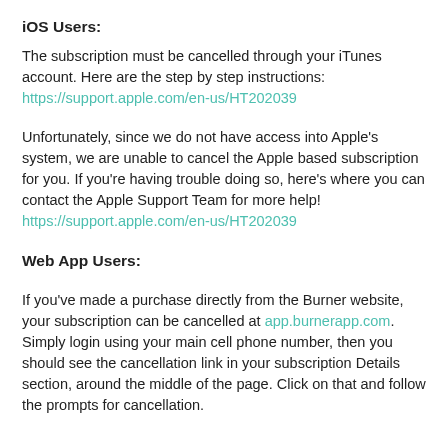iOS Users:
The subscription must be cancelled through your iTunes account. Here are the step by step instructions: https://support.apple.com/en-us/HT202039
Unfortunately, since we do not have access into Apple's system, we are unable to cancel the Apple based subscription for you. If you're having trouble doing so, here's where you can contact the Apple Support Team for more help! https://support.apple.com/en-us/HT202039
Web App Users:
If you've made a purchase directly from the Burner website, your subscription can be cancelled at app.burnerapp.com. Simply login using your main cell phone number, then you should see the cancellation link in your subscription Details section, around the middle of the page. Click on that and follow the prompts for cancellation.